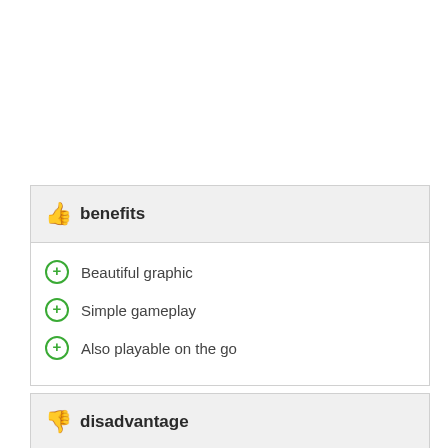benefits
Beautiful graphic
Simple gameplay
Also playable on the go
disadvantage
No risk game